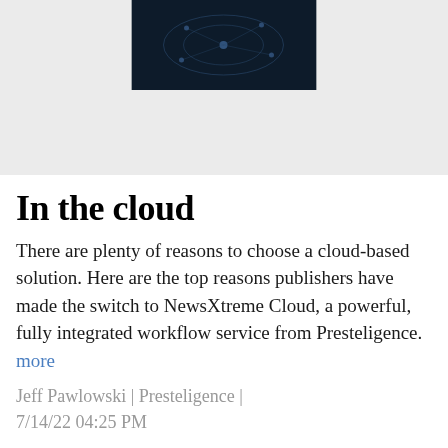[Figure (photo): Dark blue cloud/network themed thumbnail image at top center, above a light grey background area]
In the cloud
There are plenty of reasons to choose a cloud-based solution. Here are the top reasons publishers have made the switch to NewsXtreme Cloud, a powerful, fully integrated workflow service from Presteligence.  more
Jeff Pawlowski | Presteligence | 7/14/22 04:25 PM